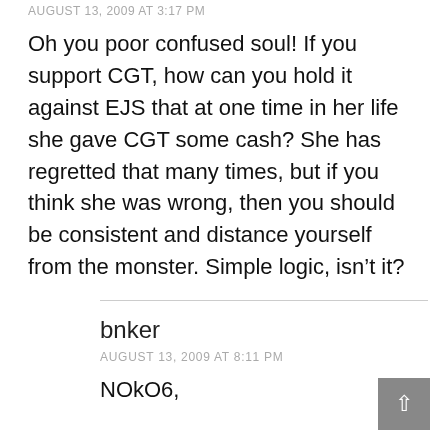AUGUST 13, 2009 AT 3:17 PM
Oh you poor confused soul! If you support CGT, how can you hold it against EJS that at one time in her life she gave CGT some cash? She has regretted that many times, but if you think she was wrong, then you should be consistent and distance yourself from the monster. Simple logic, isn't it?
bnker
AUGUST 13, 2009 AT 8:11 PM
NOkO6,